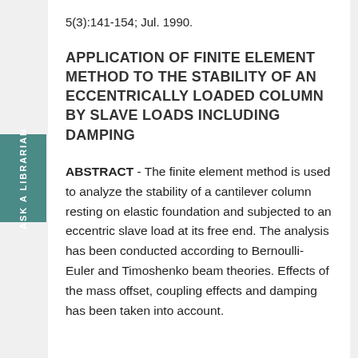5(3):141-154; Jul. 1990.
APPLICATION OF FINITE ELEMENT METHOD TO THE STABILITY OF AN ECCENTRICALLY LOADED COLUMN BY SLAVE LOADS INCLUDING DAMPING
ABSTRACT - The finite element method is used to analyze the stability of a cantilever column resting on elastic foundation and subjected to an eccentric slave load at its free end. The analysis has been conducted according to Bernoulli-Euler and Timoshenko beam theories. Effects of the mass offset, coupling effects and damping has been taken into account.